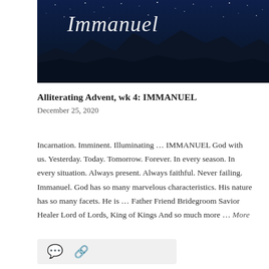[Figure (photo): Night sky photo with mountains silhouetted against a starry dark blue sky. The word 'Immanuel' is written in white cursive script across the upper portion of the image.]
Alliterating Advent, wk 4: IMMANUEL
December 25, 2020
Incarnation. Imminent. Illuminating … IMMANUEL God with us. Yesterday. Today. Tomorrow. Forever. In every season. In every situation. Always present. Always faithful. Never failing. Immanuel. God has so many marvelous characteristics. His nature has so many facets. He is … Father Friend Bridegroom Savior Healer Lord of Lords, King of Kings And so much more … More